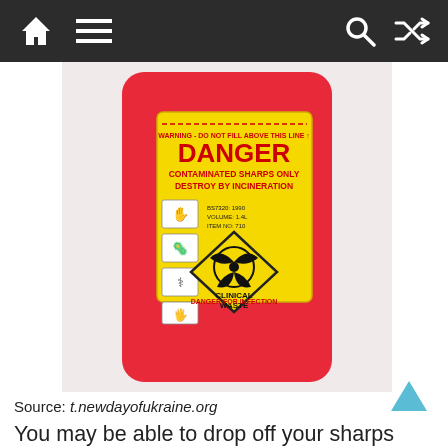Navigation bar with home, menu, search, and shuffle icons
[Figure (photo): A red sharps disposal container with a yellow label reading DANGER CONTAMINATED SHARPS ONLY DESTROY BY INCINERATION, with biohazard symbol and CLINICAL WASTE text, and DANGER FOR INFECTION at the bottom.]
Source: t.newdayofukraine.org
You may be able to drop off your sharps disposal containers at appropriate chosen collection sites, such as doctors' offices, hospitals, pharmacies, health departments, medical waste facilities, and